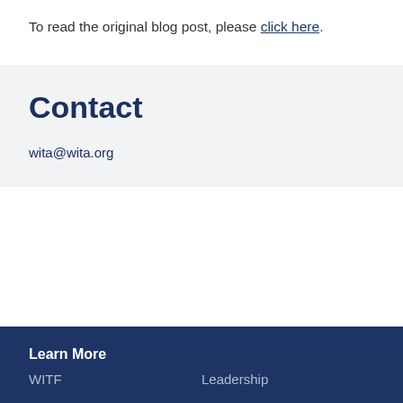To read the original blog post, please click here.
Contact
wita@wita.org
Learn More
WITF    Leadership